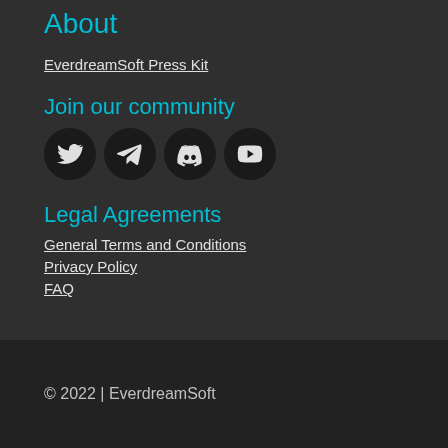About
EverdreamSoft Press Kit
Join our community
[Figure (illustration): Four social media icons in dark circles: Twitter, Telegram, Discord, YouTube]
Legal Agreements
General Terms and Conditions
Privacy Policy
FAQ
© 2022 | EverdreamSoft